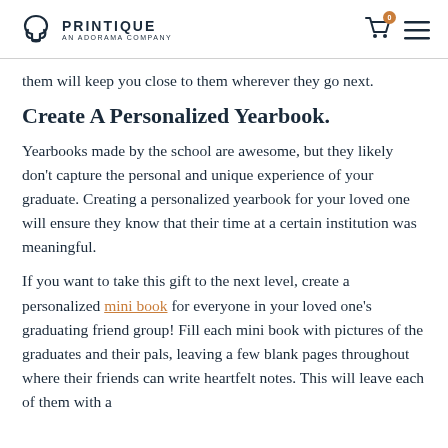PRINTIQUE AN ADORAMA COMPANY
them will keep you close to them wherever they go next.
Create A Personalized Yearbook.
Yearbooks made by the school are awesome, but they likely don't capture the personal and unique experience of your graduate. Creating a personalized yearbook for your loved one will ensure they know that their time at a certain institution was meaningful.
If you want to take this gift to the next level, create a personalized mini book for everyone in your loved one's graduating friend group! Fill each mini book with pictures of the graduates and their pals, leaving a few blank pages throughout where their friends can write heartfelt notes. This will leave each of them with a